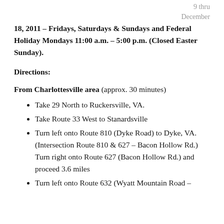9 thru December
18, 2011 – Fridays, Saturdays & Sundays and Federal Holiday Mondays 11:00 a.m. – 5:00 p.m. (Closed Easter Sunday).
Directions:
From Charlottesville area (approx. 30 minutes)
Take 29 North to Ruckersville, VA.
Take Route 33 West to Stanardsville
Turn left onto Route 810 (Dyke Road) to Dyke, VA. (Intersection Route 810 & 627 – Bacon Hollow Rd.) Turn right onto Route 627 (Bacon Hollow Rd.) and proceed 3.6 miles
Turn left onto Route 632 (Wyatt Mountain Road –